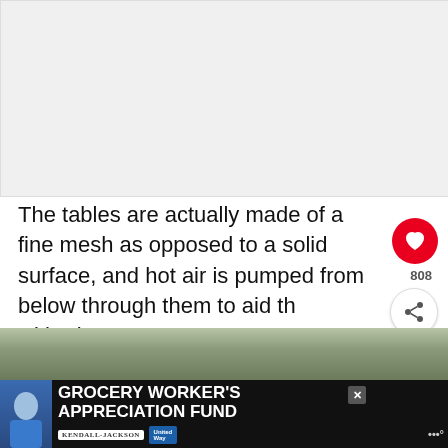[Figure (photo): Blank/light grey rectangular image area at top of page]
The tables are actually made of a fine mesh as opposed to a solid surface, and hot air is pumped from below through them to aid the withering process.
[Figure (photo): Bottom strip photo showing outdoor scene]
[Figure (other): Advertisement bar: GROCERY WORKER'S APPRECIATION FUND with Kendall-Jackson and United Way logos]